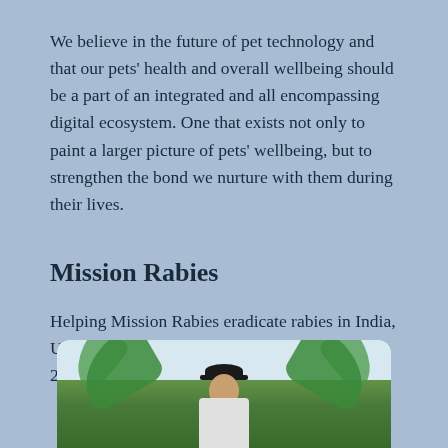We believe in the future of pet technology and that our pets' health and overall wellbeing should be a part of an integrated and all encompassing digital ecosystem. One that exists not only to paint a larger picture of pets' wellbeing, but to strengthen the bond we nurture with them during their lives.
Mission Rabies
Helping Mission Rabies eradicate rabies in India, Uganda, Tanzania, Malawi and Sri Lanka by 2030.
[Figure (photo): Photo of a person wearing a dark cap, outdoors among tropical palm trees, partially visible at the bottom of the page.]